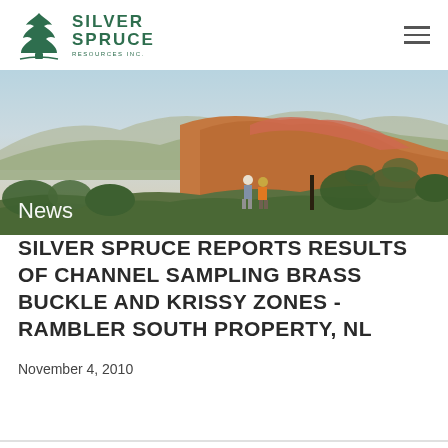[Figure (logo): Silver Spruce Resources Inc. logo — stylized green spruce tree icon with company name in dark green uppercase letters]
[Figure (photo): Outdoor landscape photo showing two hikers walking on a trail through mountainous terrain with orange/red rocky slopes, green shrubs, and blue sky in the background. The word 'News' appears in white text in the lower left.]
SILVER SPRUCE REPORTS RESULTS OF CHANNEL SAMPLING BRASS BUCKLE AND KRISSY ZONES - RAMBLER SOUTH PROPERTY, NL
November 4, 2010